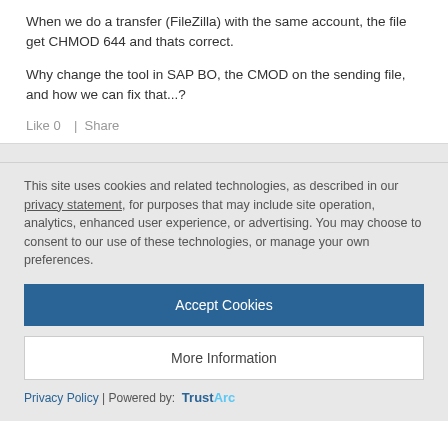When we do a transfer (FileZilla) with the same account, the file get CHMOD 644 and thats correct.
Why change the tool in SAP BO, the CMOD on the sending file, and how we can fix that...?
Like 0  |  Share
This site uses cookies and related technologies, as described in our privacy statement, for purposes that may include site operation, analytics, enhanced user experience, or advertising. You may choose to consent to our use of these technologies, or manage your own preferences.
Accept Cookies
More Information
Privacy Policy | Powered by: TrustArc